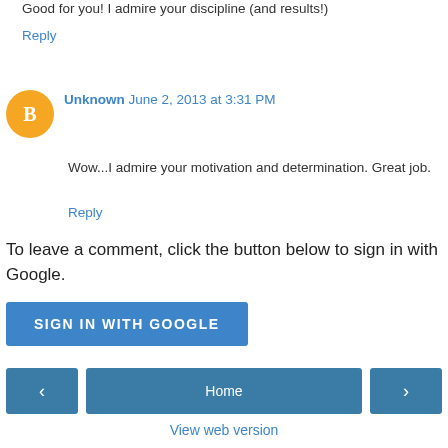Good for you! I admire your discipline (and results!)
Reply
Unknown  June 2, 2013 at 3:31 PM
Wow...I admire your motivation and determination. Great job.
Reply
To leave a comment, click the button below to sign in with Google.
SIGN IN WITH GOOGLE
Home
View web version
Powered by Blogger.